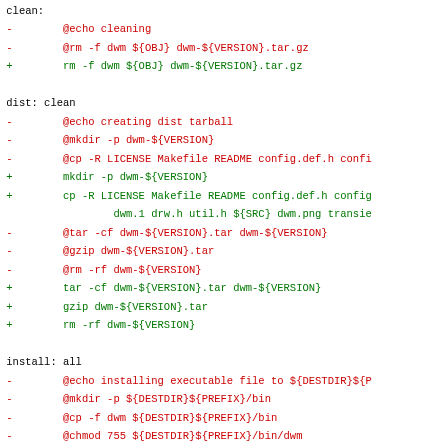Makefile diff showing changes to clean, dist, and install targets